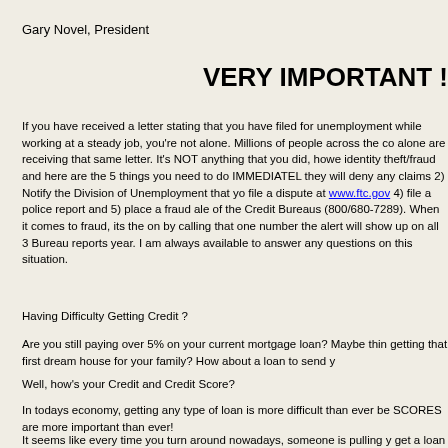Gary Novel, President
VERY IMPORTANT !
If you have received a letter stating that you have filed for unemployment while working at a steady job, you're not alone. Millions of people across the country alone are receiving that same letter. It's NOT anything that you did, however its identity theft/fraud and here are the 5 things you need to do IMMEDIATELY: 1) Notify they will deny any claims 2) Notify the Division of Unemployment that you file a dispute at www.ftc.gov 4) file a police report and 5) place a fraud alert of the Credit Bureaus (800/680-7289). When it comes to fraud, its the one by calling that one number the alert will show up on all 3 Bureau reports year. I am always available to answer any questions on this situation.
Having Difficulty Getting Credit ?
Are you still paying over 5% on your current mortgage loan? Maybe think getting that first dream house for your family? How about a loan to send y
Well, how's your Credit and Credit Score?
In todays economy, getting any type of loan is more difficult than ever be SCORES are more important than ever!
It seems like every time you turn around nowadays, someone is pulling y get a loan for a minute, when you try and rent an apartment, get a cell ph